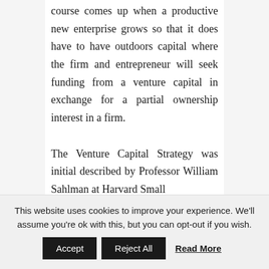course comes up when a productive new enterprise grows so that it does have to have outdoors capital where the firm and entrepreneur will seek funding from a venture capital in exchange for a partial ownership interest in a firm.

The Venture Capital Strategy was initial described by Professor William Sahlman at Harvard Small
This website uses cookies to improve your experience. We'll assume you're ok with this, but you can opt-out if you wish.